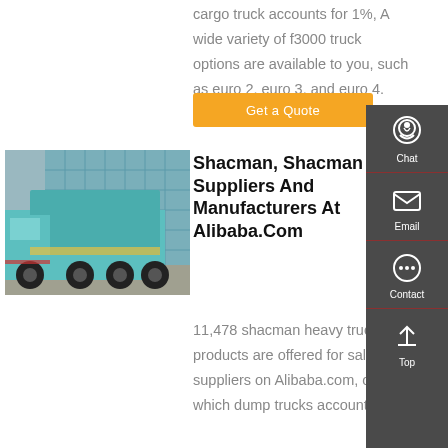cargo truck accounts for 1%, A wide variety of f3000 truck options are available to you, such as euro 2, euro 3, and euro 4.
Get a Quote
[Figure (photo): A teal/cyan colored Shacman dump truck parked in front of a glass building]
Shacman, Shacman Suppliers And Manufacturers At Alibaba.Com
11,478 shacman heavy truck products are offered for sale by suppliers on Alibaba.com, of which dump trucks accounts for